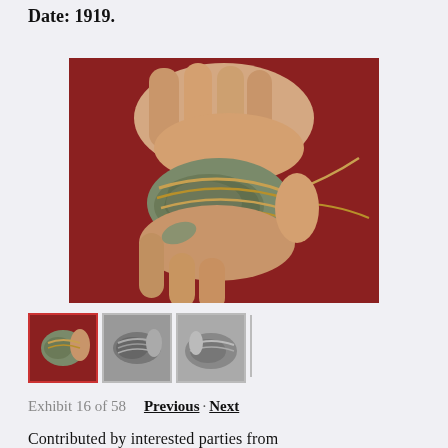Date: 1919.
[Figure (photo): Hands holding an oyster shell tied with twine/rope on a red surface]
[Figure (photo): Thumbnail 1: hands holding oyster shell with twine (color, selected)]
[Figure (photo): Thumbnail 2: oyster shell with twine close-up (grayscale)]
[Figure (photo): Thumbnail 3: oyster shell wrapped with twine (grayscale)]
Exhibit 16 of 58   Previous · Next
Contributed by interested parties from...